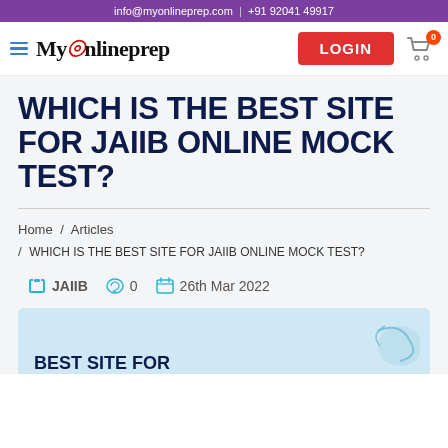info@myonlineprep.com  |  +91 92041 49917
[Figure (logo): MyOnlineprep logo with hamburger menu, LOGIN button and cart icon with badge 0]
WHICH IS THE BEST SITE FOR JAIIB ONLINE MOCK TEST?
Home / Articles / WHICH IS THE BEST SITE FOR JAIIB ONLINE MOCK TEST?
JAIIB  0  26th Mar 2022
[Figure (illustration): Article banner starting with text BEST SITE FOR on light blue background]